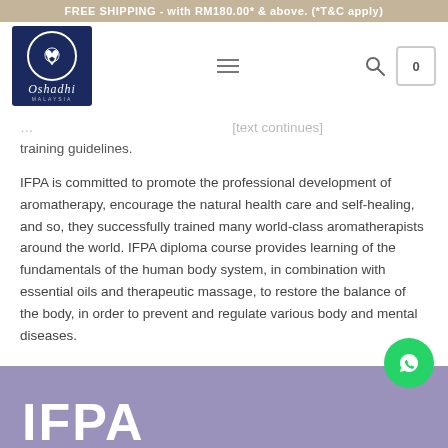FREE SHIPPING - with RM180.00* & above. (*T&C apply)
[Figure (logo): Oshadhi Malaysia logo - dark blue square with circular leaf emblem and brand name]
training guidelines.
IFPA is committed to promote the professional development of aromatherapy, encourage the natural health care and self-healing, and so, they successfully trained many world-class aromatherapists around the world. IFPA diploma course provides learning of the fundamentals of the human body system, in combination with essential oils and therapeutic massage, to restore the balance of the body, in order to prevent and regulate various body and mental diseases.
[Figure (screenshot): Purple/lavender section at the bottom with large white bold IFPA text and a green WhatsApp chat button in the corner]